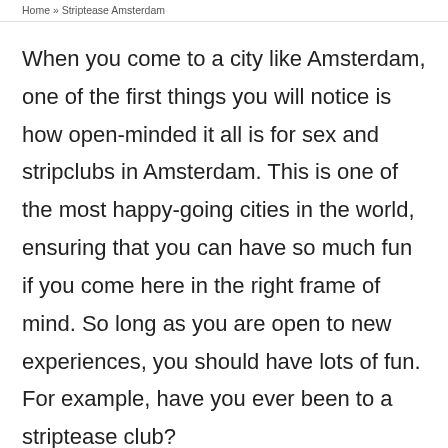Home » Striptease Amsterdam
When you come to a city like Amsterdam, one of the first things you will notice is how open-minded it all is for sex and stripclubs in Amsterdam. This is one of the most happy-going cities in the world, ensuring that you can have so much fun if you come here in the right frame of mind. So long as you are open to new experiences, you should have lots of fun. For example, have you ever been to a striptease club?